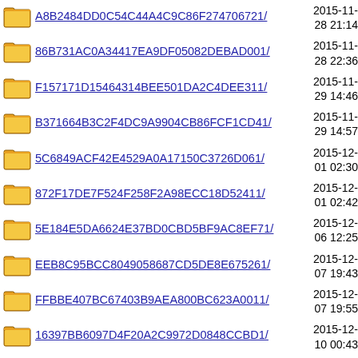A8B2484DD0C54C44A4C9C86F274706721/
86B731AC0A34417EA9DF05082DEBAD001/
F157171D15464314BEE501DA2C4DEE311/
B371664B3C2F4DC9A9904CB86FCF1CD41/
5C6849ACF42E4529A0A17150C3726D061/
872F17DE7F524F258F2A98ECC18D52411/
5E184E5DA6624E37BD0CBD5BF9AC8EF71/
EEB8C95BCC8049058687CD5DE8E675261/
FFBBE407BC67403B9AEA800BC623A0011/
16397BB6097D4F20A2C9972D0848CCBD1/
4DFA22A025274F2B91F317C75C73304C1/
78776DEE459D4C2E85E88B4C4B8280734/